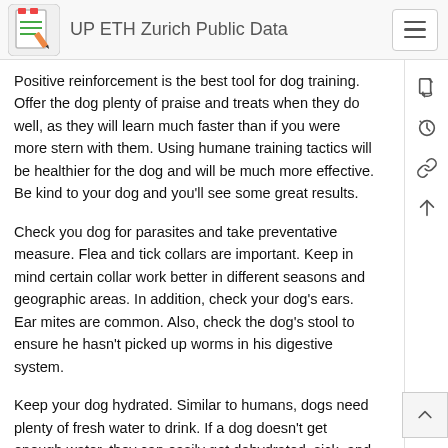UP ETH Zurich Public Data
Positive reinforcement is the best tool for dog training. Offer the dog plenty of praise and treats when they do well, as they will learn much faster than if you were more stern with them. Using humane training tactics will be healthier for the dog and will be much more effective. Be kind to your dog and you'll see some great results.
Check you dog for parasites and take preventative measure. Flea and tick collars are important. Keep in mind certain collar work better in different seasons and geographic areas. In addition, check your dog's ears. Ear mites are common. Also, check the dog's stool to ensure he hasn't picked up worms in his digestive system.
Keep your dog hydrated. Similar to humans, dogs need plenty of fresh water to drink. If a dog doesn't get enough water, they can easily get dehydrated, sick, and possibly die. Provide them with a fresh water bowl every day. Always keep it filled and clean for them. Keep the bowl in single location.
When choosing a vet for your dog, make sure that it is a